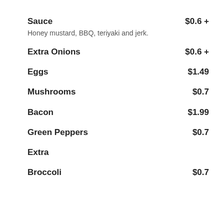Sauce  $0.6 +
Honey mustard, BBQ, teriyaki and jerk.
Extra Onions  $0.6 +
Eggs  $1.49
Mushrooms  $0.7
Bacon  $1.99
Green Peppers  $0.7
Extra
Broccoli  $0.7